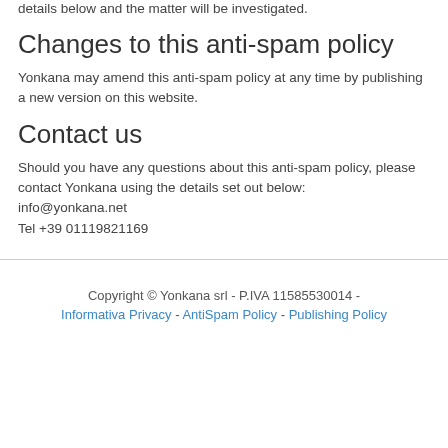details below and the matter will be investigated.
Changes to this anti-spam policy
Yonkana may amend this anti-spam policy at any time by publishing a new version on this website.
Contact us
Should you have any questions about this anti-spam policy, please contact Yonkana using the details set out below:
info@yonkana.net
Tel +39 01119821169
Copyright © Yonkana srl - P.IVA 11585530014 - Informativa Privacy - AntiSpam Policy - Publishing Policy